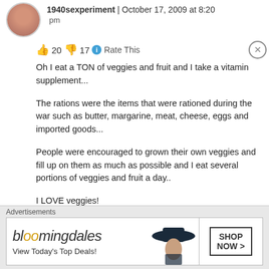1940sexperiment | October 17, 2009 at 8:20 pm
👍 20 👎 17 ℹ Rate This
Oh I eat a TON of veggies and fruit and I take a vitamin supplement...
The rations were the items that were rationed during the war such as butter, margarine, meat, cheese, eggs and imported goods...
People were encouraged to grown their own veggies and fill up on them as much as possible and I eat several portions of veggies and fruit a day..
I LOVE veggies!
C xx
Advertisements
[Figure (screenshot): Bloomingdale's advertisement banner with text 'View Today's Top Deals!' and 'SHOP NOW >' button, featuring a woman in a hat.]